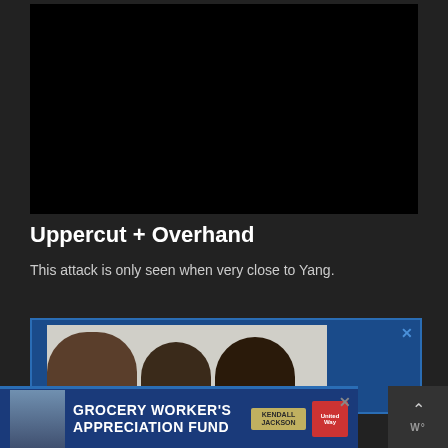[Figure (screenshot): Dark/black video player area showing a nearly black video frame]
Uppercut + Overhand
This attack is only seen when very close to Yang.
[Figure (photo): Advertisement overlay showing a photo of three people (family group) against a light background with blue border and close button]
[Figure (photo): Bottom banner advertisement: GROCERY WORKER'S APPRECIATION FUND with Kendall Jackson and United Way logos, featuring a person in blue shirt]